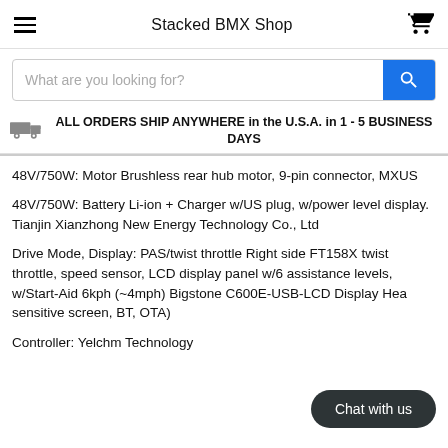Stacked BMX Shop
What are you looking for?
ALL ORDERS SHIP ANYWHERE in the U.S.A. in 1 - 5 BUSINESS DAYS
48V/750W: Motor Brushless rear hub motor, 9-pin connector, MXUS
48V/750W: Battery Li-ion + Charger w/US plug, w/power level display. Tianjin Xianzhong New Energy Technology Co., Ltd
Drive Mode, Display: PAS/twist throttle Right side FT158X twist throttle, speed sensor, LCD display panel w/6 assistance levels, w/Start-Aid 6kph (~4mph) Bigstone C600E-USB-LCD Display Hea sensitive screen, BT, OTA)
Controller: Yelchm Technology
Chat with us